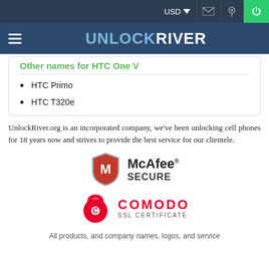USD
UNLOCKRIVER
Other names for HTC One V
HTC Primo
HTC T320e
UnlockRiver.org is an incorporated company, we've been unlocking cell phones for 18 years now and strives to provide the best service for our clientele.
[Figure (logo): McAfee SECURE logo — red shield with white M and text McAfee SECURE]
[Figure (logo): Comodo SSL Certificate logo — red padlock icon with COMODO SSL CERTIFICATE text]
All products, and company names, logos, and service